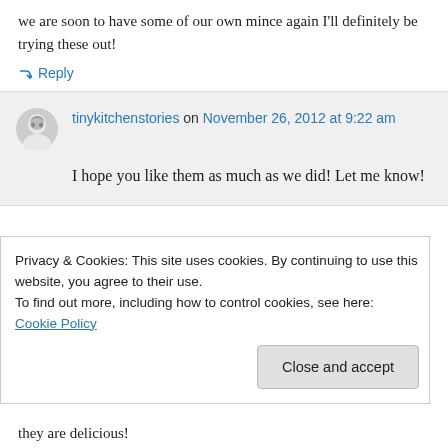we are soon to have some of our own mince again I'll definitely be trying these out!
↳ Reply
tinykitchenstories on November 26, 2012 at 9:22 am
I hope you like them as much as we did! Let me know!
Privacy & Cookies: This site uses cookies. By continuing to use this website, you agree to their use.
To find out more, including how to control cookies, see here: Cookie Policy
Close and accept
they are delicious!